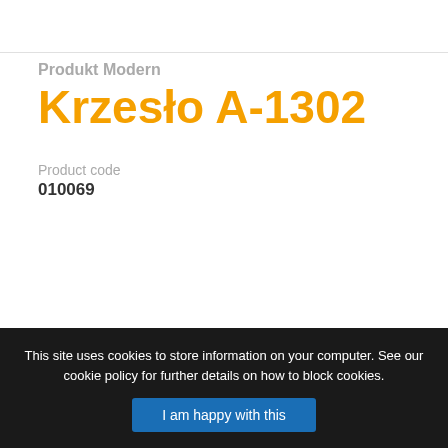Produkt Modern
Krzesło A-1302
Product code
010069
[Figure (illustration): Facebook share button with orange circle border and italic f letter, followed by Udostępnij (Share) text]
Udostępnij
This site uses cookies to store information on your computer. See our cookie policy for further details on how to block cookies.
I am happy with this